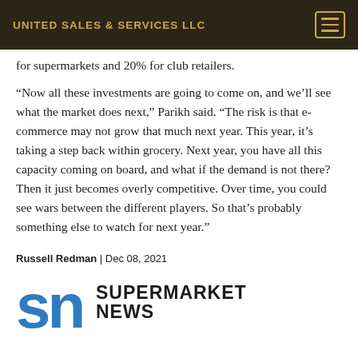UNITED SALES & SERVICES LLC
for supermarkets and 20% for club retailers.
“Now all these investments are going to come on, and we’ll see what the market does next,” Parikh said. “The risk is that e-commerce may not grow that much next year. This year, it’s taking a step back within grocery. Next year, you have all this capacity coming on board, and what if the demand is not there? Then it just becomes overly competitive. Over time, you could see wars between the different players. So that’s probably something else to watch for next year.”
Russell Redman | Dec 08, 2021
[Figure (logo): Supermarket News logo with 'sn' in blue and 'SUPERMARKET NEWS' in bold black text]